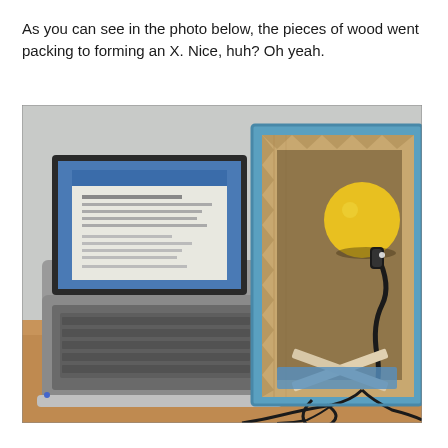As you can see in the photo below, the pieces of wood went packing to forming an X. Nice, huh? Oh yeah.
[Figure (photo): A desk setup showing a laptop with a document on screen, a pair of over-ear headphones, and a DIY acoustic measurement box lined with foam sound-dampening spikes. Inside the blue-and-tan foam box is a yellow ball (speaker) on a flexible gooseneck stand, with two pieces of wood crossed in an X shape on the floor of the box and cables running out.]